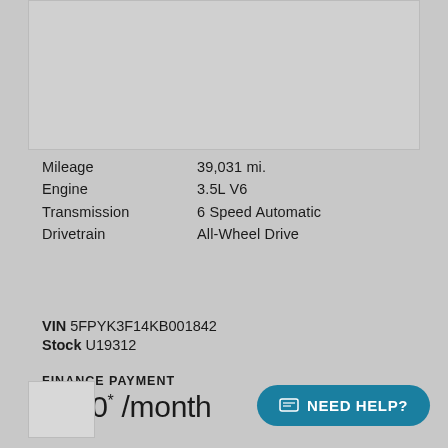[Figure (photo): Vehicle photo placeholder at top]
| Attribute | Value |
| --- | --- |
| Mileage | 39,031 mi. |
| Engine | 3.5L V6 |
| Transmission | 6 Speed Automatic |
| Drivetrain | All-Wheel Drive |
VIN 5FPYK3F14KB001842
Stock U19312
FINANCE PAYMENT
$630*/month
at Keeler Honda
Certified
2019 Honda
CR-V EX-L
NEED HELP?
[Figure (photo): Small vehicle thumbnail at bottom left]